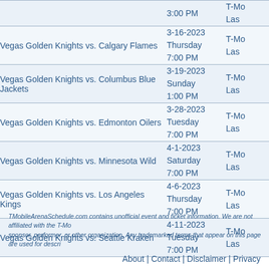| Game | Date/Time | Venue |
| --- | --- | --- |
|  | 3:00 PM | T-Mo Las |
| Vegas Golden Knights vs. Calgary Flames | 3-16-2023 Thursday 7:00 PM | T-Mo Las |
| Vegas Golden Knights vs. Columbus Blue Jackets | 3-19-2023 Sunday 1:00 PM | T-Mo Las |
| Vegas Golden Knights vs. Edmonton Oilers | 3-28-2023 Tuesday 7:00 PM | T-Mo Las |
| Vegas Golden Knights vs. Minnesota Wild | 4-1-2023 Saturday 7:00 PM | T-Mo Las |
| Vegas Golden Knights vs. Los Angeles Kings | 4-6-2023 Thursday 7:00 PM | T-Mo Las |
| Vegas Golden Knights vs. Seattle Kraken | 4-11-2023 Tuesday 7:00 PM | T-Mo Las |
TMobileArenaSchedule.com contains unofficial event and ticket information. We are not affiliated with the T-Mo sponsor, performer, or other organization. Any trademarked terms that appear on this page are used for descri
About | Contact | Disclaimer | Privacy